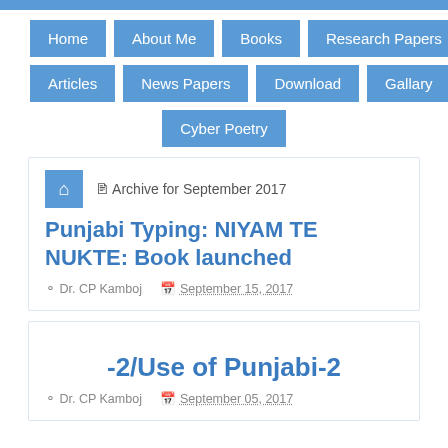[Figure (screenshot): Blue top navigation bar strip]
Home | About Me | Books | Research Papers | Articles | News Papers | Download | Gallary | Cyber Poetry
Archive for September 2017
Punjabi Typing: NIYAM TE NUKTE: Book launched
Dr. CP Kamboj   September 15, 2017
-2/Use of Punjabi-2
Dr. CP Kamboj   September 05, 2017